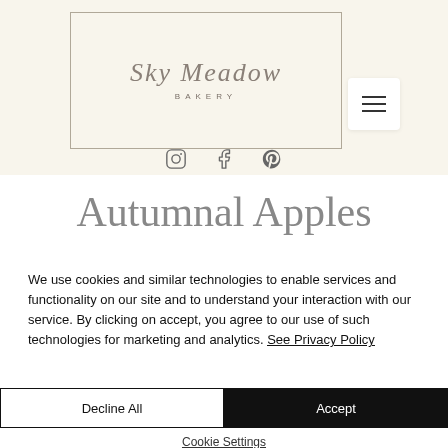[Figure (logo): Sky Meadow Bakery logo in a rectangular border with script handwriting and 'BAKERY' in small caps below]
We use cookies and similar technologies to enable services and functionality on our site and to understand your interaction with our service. By clicking on accept, you agree to our use of such technologies for marketing and analytics. See Privacy Policy
Autumnal Apples